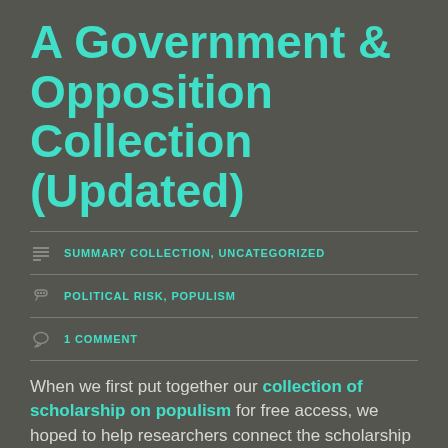A Government & Opposition Collection (Updated)
SUMMARY COLLECTION, UNCATEGORIZED
POLITICAL RISK, POPULISM
1 COMMENT
When we first put together our collection of scholarship on populism for free access, we hoped to help researchers connect the scholarship we have published to current elections and other ongoing…